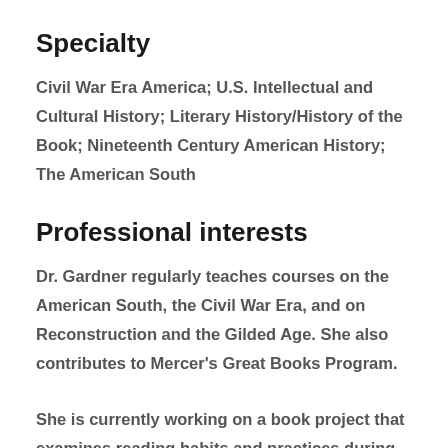Specialty
Civil War Era America; U.S. Intellectual and Cultural History; Literary History/History of the Book; Nineteenth Century American History; The American South
Professional interests
Dr. Gardner regularly teaches courses on the American South, the Civil War Era, and on Reconstruction and the Gilded Age. She also contributes to Mercer’s Great Books Program.
She is currently working on a book project that examines reading habits and practices during